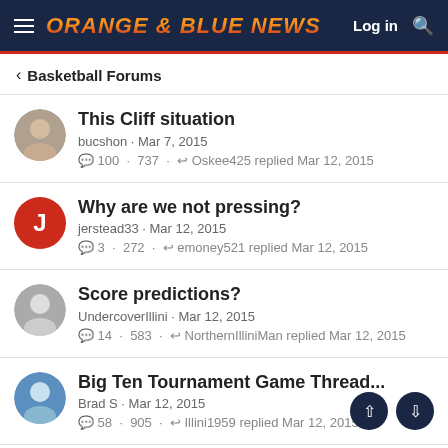Orange & Blue News — Log in, Search
< Basketball Forums
This Cliff situation | bucshon · Mar 7, 2015 | 100 · 737 · Oskee425 replied Mar 12, 2015
Why are we not pressing? | jerstead33 · Mar 12, 2015 | 3 · 272 · emoney521 replied Mar 12, 2015
Score predictions? | UndercoverIllini · Mar 12, 2015 | 14 · 583 · NorthernIlliniMan replied Mar 12, 2015
Big Ten Tournament Game Thread... | Brad S · Mar 12, 2015 | 58 · 905 · Illini1959 replied Mar 12, 2015